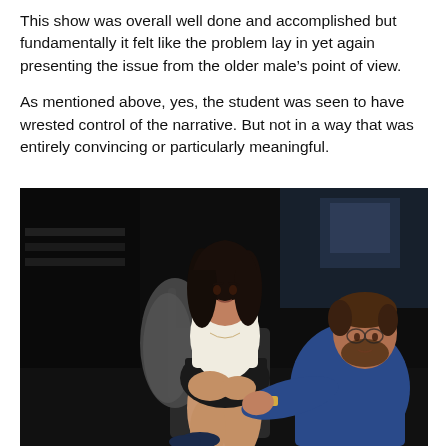This show was overall well done and accomplished but fundamentally it felt like the problem lay in yet again presenting the issue from the older male's point of view.
As mentioned above, yes, the student was seen to have wrested control of the narrative. But not in a way that was entirely convincing or particularly meaningful.
[Figure (photo): A theatre stage photograph showing a young woman with dark hair wearing a white top and dark skirt seated in a chair, looking directly forward with a serious expression, and a bearded man in a blue shirt leaning toward her from the right side, appearing to speak or plead.]